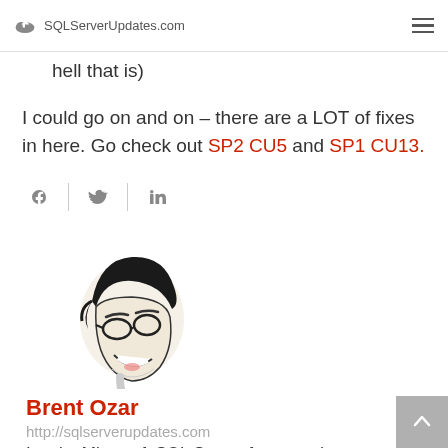SQLServerUpdates.com
hell that is)
I could go on and on – there are a LOT of fixes in here. Go check out SP2 CU5 and SP1 CU13.
[Figure (other): Social sharing icons: Facebook, Twitter, LinkedIn]
[Figure (illustration): Black and white illustration of Brent Ozar, a man looking upward with mouth open]
Brent Ozar
http://sqlserverupdates.com
I make Microsoft SQL Server faster and more